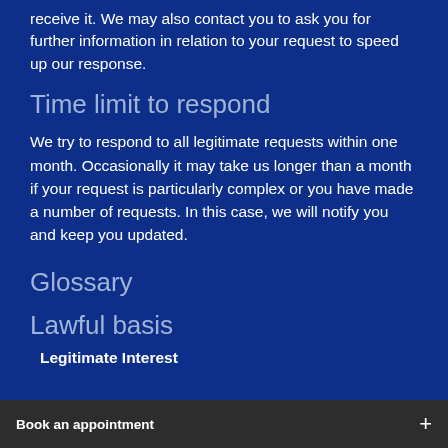receive it. We may also contact you to ask you for further information in relation to your request to speed up our response.
Time limit to respond
We try to respond to all legitimate requests within one month. Occasionally it may take us longer than a month if your request is particularly complex or you have made a number of requests. In this case, we will notify you and keep you updated.
Glossary
Lawful basis
Legitimate Interest
Book an appointment  +